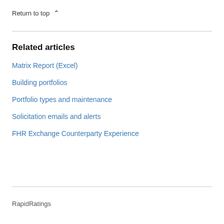Return to top ^
Related articles
Matrix Report (Excel)
Building portfolios
Portfolio types and maintenance
Solicitation emails and alerts
FHR Exchange Counterparty Experience
RapidRatings